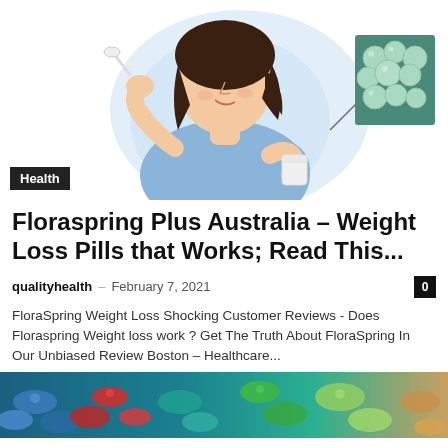[Figure (illustration): Illustration of a woman in a blue top holding a spoon and a cup, with an inset showing green probiotic bacteria cells on a teal background]
Health
Floraspring Plus Australia – Weight Loss Pills that Works; Read This...
qualityhealth – February 7, 2021
FloraSpring Weight Loss Shocking Customer Reviews - Does Floraspring Weight loss work ? Get The Truth About FloraSpring In Our Unbiased Review Boston – Healthcare...
[Figure (photo): Close-up photo of colorful probiotic bacteria cells in blue, red, and green on a teal/blue background]